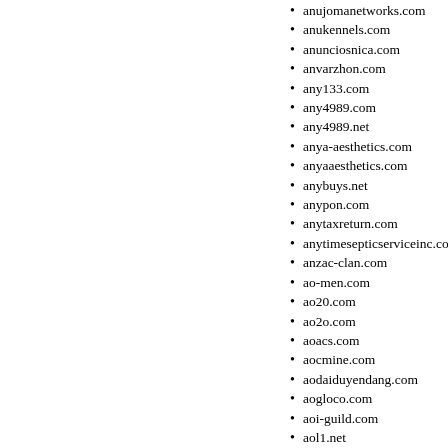anujomanetworks.com
anukennels.com
anunciosnica.com
anvarzhon.com
any133.com
any4989.com
any4989.net
anya-aesthetics.com
anyaaesthetics.com
anybuys.net
anypon.com
anytaxreturn.com
anytimesepticserviceinc.com
anzac-clan.com
ao-men.com
ao20.com
ao2o.com
aoacs.com
aocmine.com
aodaiduyendang.com
aogloco.com
aoi-guild.com
aol1.net
aol365.com
aolaff2.com
aolmesssenger.com
aolobcn.net
aomori-kumazasa.com